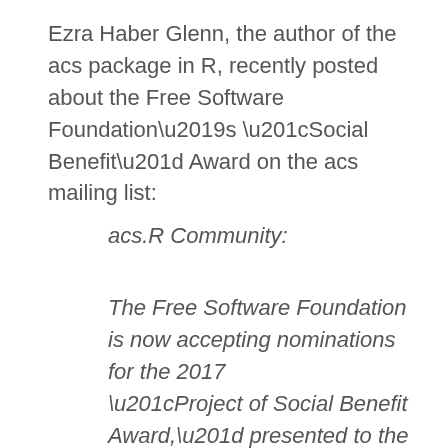Ezra Haber Glenn, the author of the acs package in R, recently posted about the Free Software Foundation’s “Social Benefit” Award on the acs mailing list:
acs.R Community:
The Free Software Foundation is now accepting nominations for the 2017 “Project of Social Benefit Award,” presented to the project or team responsible for applying free software, or the ideas of the free